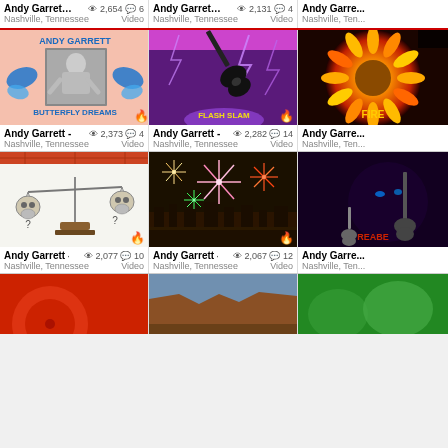[Figure (screenshot): YouTube-style video grid showing Andy Garrett music videos from Nashville, Tennessee. Top row (partial/cropped): cards with view counts 2,654 (6 comments), 2,131 (4 comments), and a third partially visible. Second row: Butterfly Dreams thumbnail (pink, baby photo, butterflies) - 2,373 views 4 comments; Flash/Slam thumbnail (purple, electric guitar with lightning) - 2,282 views 14 comments; Fire thumbnail (partial, sunflower fire). Third row: Scales/skull balance thumbnail (white bg) - 2,077 views 10 comments; Fireworks thumbnail (night scene) - 2,067 views 12 comments; Guitar/character thumbnail (partial). Bottom row: partial thumbnails (red disc, canyon landscape, green).]
Andy Garrett - ... Nashville, Tennessee Video 2,654 views 6 comments
Andy Garrett - ... Nashville, Tennessee Video 2,131 views 4 comments
Andy Garrett - ... Nashville, Tennessee Video 2,373 views 4 comments
Andy Garrett - ... Nashville, Tennessee Video 2,282 views 14 comments
Andy Garrett - ... Nashville, Tennessee Video 2,077 views 10 comments
Andy Garrett - ... Nashville, Tennessee Video 2,067 views 12 comments